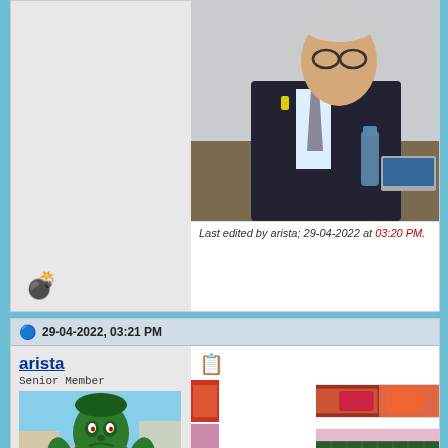[Figure (screenshot): Forum post top section showing a man in suit at desk, with photo placeholder on left side and bomb emoji icon]
Last edited by arista; 29-04-2022 at 03:20 PM.
29-04-2022, 03:21 PM
arista
Senior Member
[Figure (photo): Avatar image of the Hulk from the 1970s TV show]
[Figure (screenshot): Grid of images in forum post right column including food, neon signs, corn field, and person images]